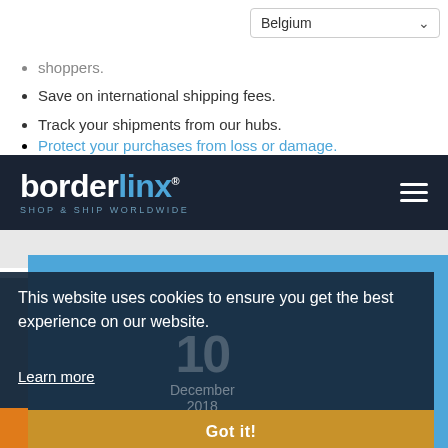[Figure (screenshot): Belgium country selector dropdown in top right corner]
shoppers.
Save on international shipping fees.
Track your shipments from our hubs.
Protect your purchases from loss or damage.
[Figure (logo): Borderlinx logo — white 'border' and blue 'linx' with registered trademark, tagline 'SHOP & SHIP WORLDWIDE' on dark navy background with hamburger menu icon]
This website uses cookies to ensure you get the best experience on our website.
Learn more
10
December
2018
Got it!